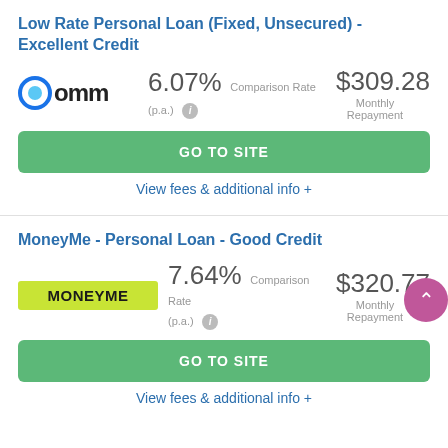Low Rate Personal Loan (Fixed, Unsecured) - Excellent Credit
6.07% Comparison Rate (p.a.) — $309.28 Monthly Repayment
GO TO SITE
View fees & additional info +
MoneyMe - Personal Loan - Good Credit
7.64% Comparison Rate (p.a.) — $320.77 Monthly Repayment
GO TO SITE
View fees & additional info +